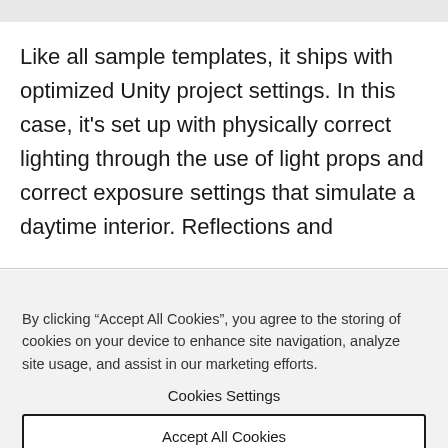Like all sample templates, it ships with optimized Unity project settings. In this case, it's set up with physically correct lighting through the use of light props and correct exposure settings that simulate a daytime interior. Reflections and
By clicking “Accept All Cookies”, you agree to the storing of cookies on your device to enhance site navigation, analyze site usage, and assist in our marketing efforts.
Cookies Settings
Accept All Cookies